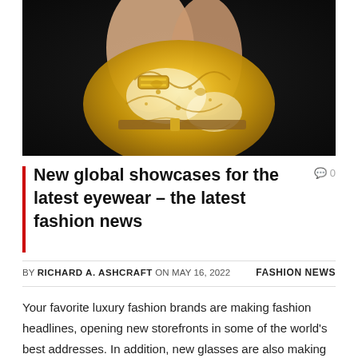[Figure (photo): Close-up fashion photo of a model wearing a yellow/gold printed luxury silk blouse with a gold bracelet/cuff, dark background]
New global showcases for the latest eyewear – the latest fashion news
BY RICHARD A. ASHCRAFT ON MAY 16, 2022    FASHION NEWS
Your favorite luxury fashion brands are making fashion headlines, opening new storefronts in some of the world's best addresses. In addition, new glasses are also making their debut so that you can accessorize your person with the latest